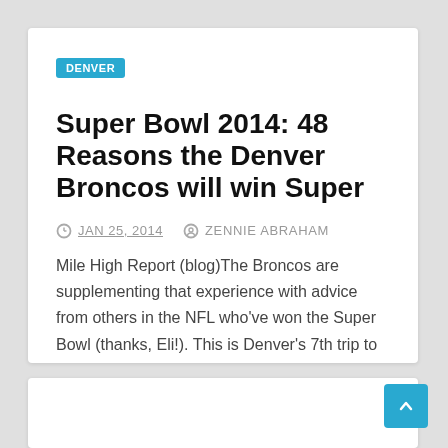DENVER
Super Bowl 2014: 48 Reasons the Denver Broncos will win Super
JAN 25, 2014   ZENNIE ABRAHAM
Mile High Report (blog)The Broncos are supplementing that experience with advice from others in the NFL who've won the Super Bowl (thanks, Eli!). This is Denver's 7th trip to the…